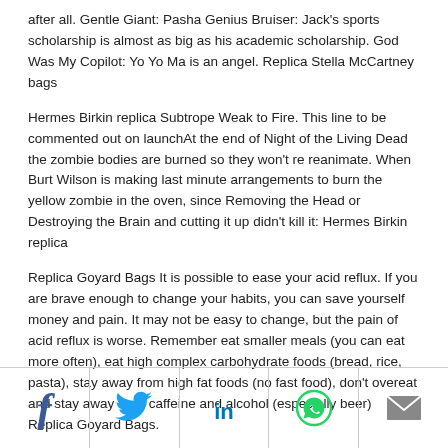after all. Gentle Giant: Pasha Genius Bruiser: Jack’s sports scholarship is almost as big as his academic scholarship. God Was My Copilot: Yo Yo Ma is an angel. Replica Stella McCartney bags
Hermes Birkin replica Subtrope Weak to Fire. This line to be commented out on launchAt the end of Night of the Living Dead the zombie bodies are burned so they won’t re reanimate. When Burt Wilson is making last minute arrangements to burn the yellow zombie in the oven, since Removing the Head or Destroying the Brain and cutting it up didn’t kill it: Hermes Birkin replica
Replica Goyard Bags It is possible to ease your acid reflux. If you are brave enough to change your habits, you can save yourself money and pain. It may not be easy to change, but the pain of acid reflux is worse. Remember eat smaller meals (you can eat more often), eat high complex carbohydrate foods (bread, rice, pasta), stay away from high fat foods (no fast food), don’t overeat and stay away from caffeine and alcohol (especially beer) Replica Goyard Bags.
[Figure (infographic): Social share footer bar with five icons: Facebook (f), Twitter (bird), LinkedIn (in), WhatsApp (phone in circle), Email (envelope)]